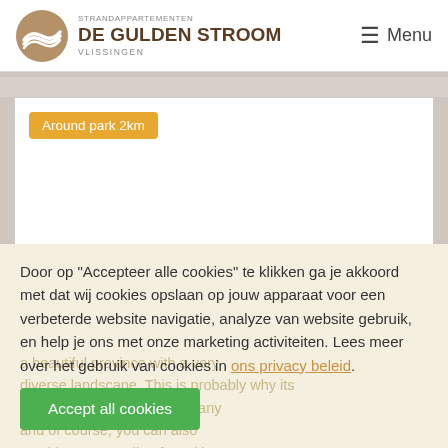STRANDAPPARTEMENTEN DE GULDEN STROOM VLISSINGEN | Menu
[Figure (screenshot): Map card with orange tag label 'Around park 2km']
Door op "Accepteer alle cookies" te klikken ga je akkoord met dat wij cookies opslaan op jouw apparaat voor een verbeterde website navigatie, analyze van website gebruik, en help je ons met onze marketing activiteiten. Lees meer over het gebruik van cookies in ons privacy beleid.
Accept all cookies